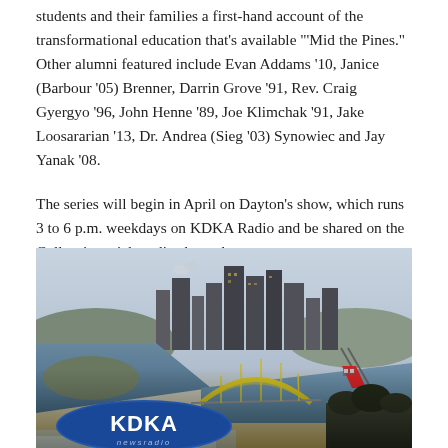students and their families a first-hand account of the transformational education that's available "'Mid the Pines." Other alumni featured include Evan Addams '10, Janice (Barbour '05) Brenner, Darrin Grove '91, Rev. Craig Gyergyo '96, John Henne '89, Joe Klimchak '91, Jake Loosararian '13, Dr. Andrea (Sieg '03) Synowiec and Jay Yanak '08.
The series will begin in April on Dayton's show, which runs 3 to 6 p.m. weekdays on KDKA Radio and be shared on the College's social media channels.
[Figure (photo): Aerial view of Pittsburgh city skyline with rivers, Fort Pitt Bridge yellow arch, Monongahela Incline red cable car, and KDKA Newsradio logo overlay at the bottom]